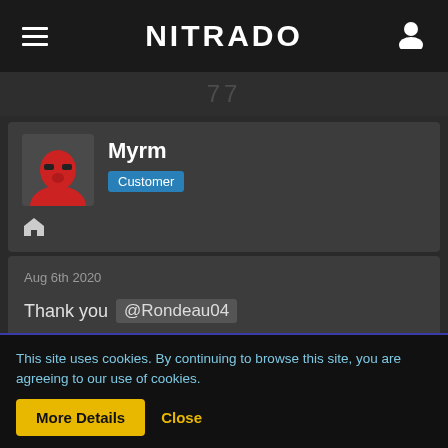NITRADO
Myrm
Customer
Aug 6th 2020
Thank you @Rondeau04
MsDemeanor1001
This site uses cookies. By continuing to browse this site, you are agreeing to our use of cookies.